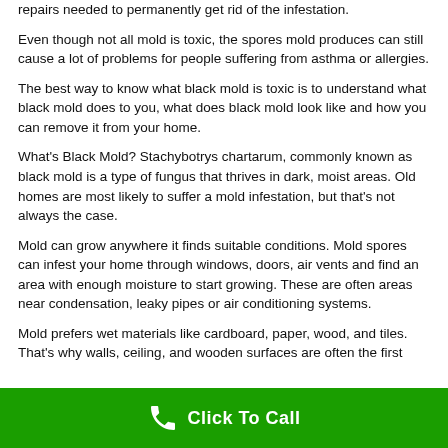repairs needed to permanently get rid of the infestation.
Even though not all mold is toxic, the spores mold produces can still cause a lot of problems for people suffering from asthma or allergies.
The best way to know what black mold is toxic is to understand what black mold does to you, what does black mold look like and how you can remove it from your home.
What's Black Mold? Stachybotrys chartarum, commonly known as black mold is a type of fungus that thrives in dark, moist areas. Old homes are most likely to suffer a mold infestation, but that's not always the case.
Mold can grow anywhere it finds suitable conditions. Mold spores can infest your home through windows, doors, air vents and find an area with enough moisture to start growing. These are often areas near condensation, leaky pipes or air conditioning systems.
Mold prefers wet materials like cardboard, paper, wood, and tiles. That's why walls, ceiling, and wooden surfaces are often the first
Click To Call